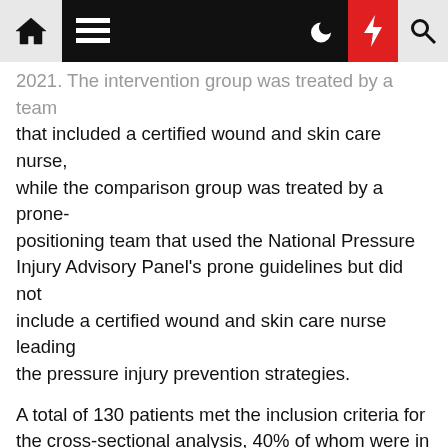[Navigation bar with home, menu, dark mode, flash, and search icons]
2021. The intervention group was treated by a team that included a certified wound and skin care nurse, while the comparison group was treated by a prone-positioning team that used the National Pressure Injury Advisory Panel's prone guidelines but did not include a certified wound and skin care nurse leading the pressure injury prevention strategies.
A total of 130 patients met the inclusion criteria for the cross-sectional analysis, 40% of whom were in the intervention group.
Significantly fewer patients in the intervention group had pressure injuries develop (8% compared with 60% in the comparison group). Further analysis and adjustment for relevant factors revealed that patients in the intervention group had a 97% lower adjusted odds ratio of pressure injury developing